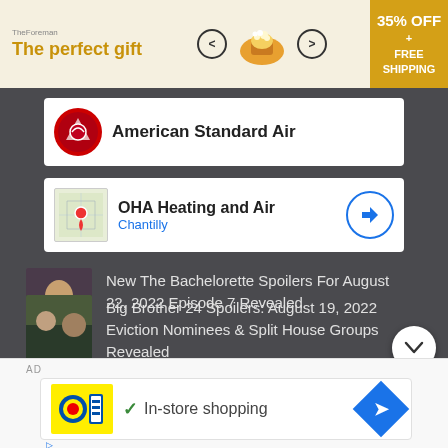[Figure (screenshot): Top advertisement banner for 'The perfect gift' with popcorn imagery, navigation arrows, and '35% OFF + FREE SHIPPING' offer badge]
[Figure (screenshot): Ad card for 'American Standard Air' with company logo]
[Figure (screenshot): Ad card for 'OHA Heating and Air' in Chantilly with map thumbnail and navigation arrow]
New The Bachelorette Spoilers For August 22, 2022 Episode 7 Revealed
Big Brother 24 Spoilers: August 19, 2022 Eviction Nominees & Split House Groups Revealed
AD
[Figure (screenshot): Bottom ad card for Lidl showing 'In-store shopping' with checkmark and blue diamond navigation arrow]